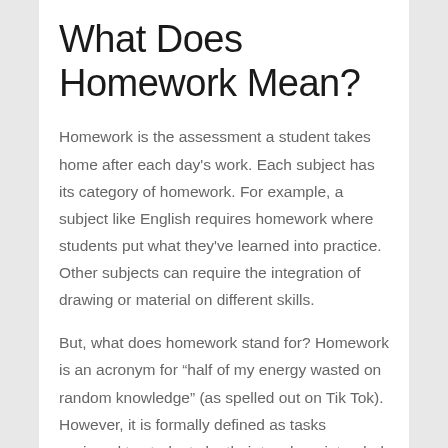What Does Homework Mean?
Homework is the assessment a student takes home after each day's work. Each subject has its category of homework. For example, a subject like English requires homework where students put what they've learned into practice. Other subjects can require the integration of drawing or material on different skills.
But, what does homework stand for? Homework is an acronym for “half of my energy wasted on random knowledge” (as spelled out on Tik Tok). However, it is formally defined as tasks assigned to students by their teachers intended to be carried out after school hours.